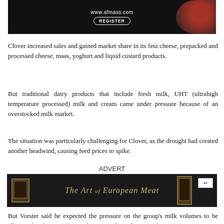[Figure (photo): Top advertisement banner with dark background, www.afmass.com URL and REGISTER button, food image on right side]
Clover increased sales and gained market share in its feta cheese, prepacked and processed cheese, maas, yoghurt and liquid custard products.
But traditional dairy products that include fresh milk, UHT (ultrahigh temperature processed) milk and cream came under pressure because of an overstocked milk market.
The situation was particularly challenging for Clover, as the drought had created another headwind, causing feed prices to spike.
ADVERT
[Figure (photo): Advertisement banner for 'The Art of European Meat' with dark background and decorative frames]
But Vorster said he expected the pressure on the group's milk volumes to be alleviated in the 2017 financial year, as Clover has signed an